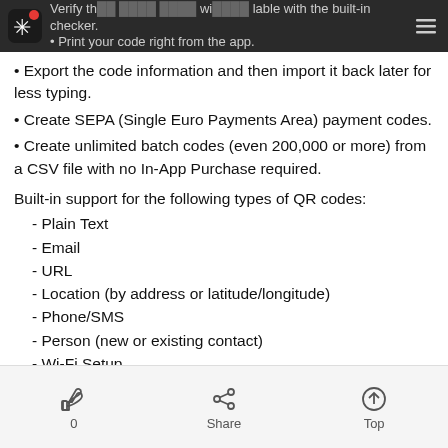Verify that your code will be available with the built-in checker. Print your code right from the app.
Export the code information and then import it back later for less typing.
Create SEPA (Single Euro Payments Area) payment codes.
Create unlimited batch codes (even 200,000 or more) from a CSV file with no In-App Purchase required.
Built-in support for the following types of QR codes:
- Plain Text
- Email
- URL
- Location (by address or latitude/longitude)
- Phone/SMS
- Person (new or existing contact)
- Wi-Fi Setup
- Calendar Events
- Twitter and Facebook
0  Share  Top